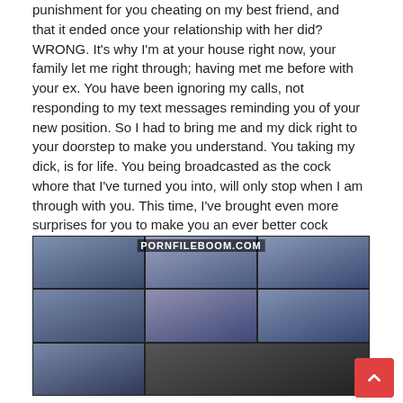punishment for you cheating on my best friend, and that it ended once your relationship with her did? WRONG. It's why I'm at your house right now, your family let me right through; having met me before with your ex. You have been ignoring my calls, not responding to my text messages reminding you of your new position. So I had to bring me and my dick right to your doorstep to make you understand. You taking my dick, is for life. You being broadcasted as the cock whore that I've turned you into, will only stop when I am through with you. This time, I've brought even more surprises for you to make you an ever better cock gobbler; even more vicious than the last...
[Figure (screenshot): Video thumbnail grid showing six panels of a woman with long brown hair wearing a black leather jacket and white top, in front of a blue background. Watermark text PORNFILEBOOM.COM visible at top. Bottom row partially shows additional content.]